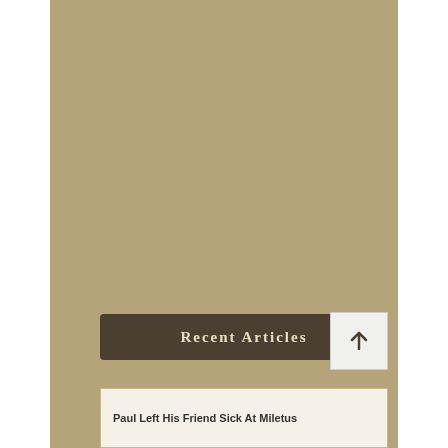Recent Articles
Paul Left His Friend Sick At Miletus